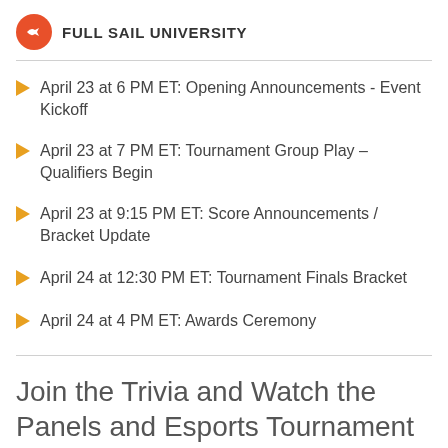FULL SAIL UNIVERSITY
April 23 at 6 PM ET: Opening Announcements - Event Kickoff
April 23 at 7 PM ET: Tournament Group Play – Qualifiers Begin
April 23 at 9:15 PM ET: Score Announcements / Bracket Update
April 24 at 12:30 PM ET: Tournament Finals Bracket
April 24 at 4 PM ET: Awards Ceremony
Join the Trivia and Watch the Panels and Esports Tournament Live